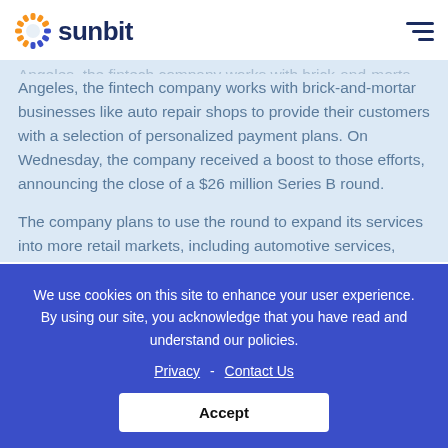sunbit
Angeles, the fintech company works with brick-and-mortar businesses like auto repair shops to provide their customers with a selection of personalized payment plans. On Wednesday, the company received a boost to those efforts, announcing the close of a $26 million Series B round.
The company plans to use the round to expand its services into more retail markets, including automotive services, dental, eyewear and veterinary services, said Tal Riesenfeld, co-founder and VP of sales at Sunbit.
We use cookies on this site to enhance your user experience. By using our site, you acknowledge that you have read and understand our policies.
Privacy - Contact Us
Accept